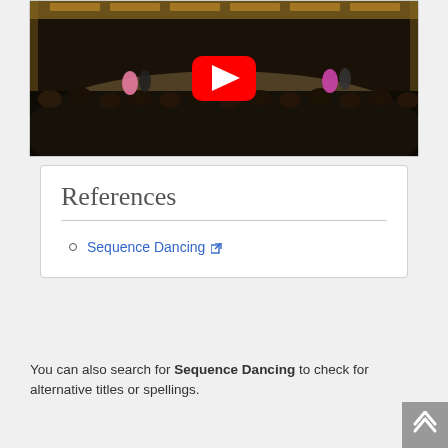[Figure (photo): YouTube video thumbnail showing a ballroom dancing event. People are dancing in a large ornate hall. A red YouTube play button is centered on the image. An audience is seated in the foreground.]
References
Sequence Dancing [external link]
You can also search for Sequence Dancing to check for alternative titles or spellings.